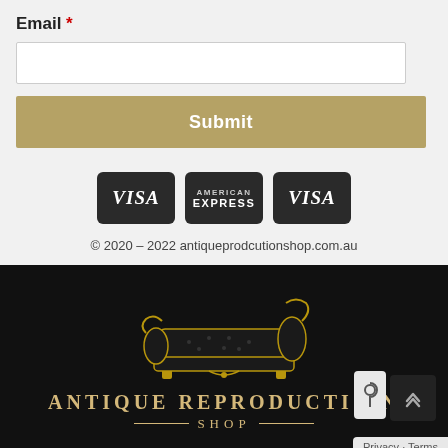Email *
Submit
[Figure (logo): Three payment card icons: VISA (dark), American Express (dark), VISA (dark)]
© 2020 – 2022 antiqueprodcutionshop.com.au
[Figure (logo): Antique Reproduction Shop logo: gold ornate chaise lounge sofa on black background with brand name 'ANTIQUE REPRODUCTION SHOP' in gold lettering]